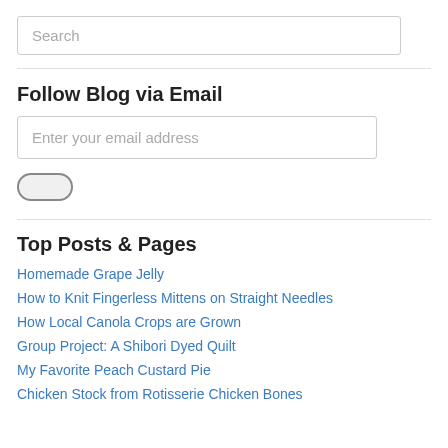Search
Follow Blog via Email
Enter your email address
Top Posts & Pages
Homemade Grape Jelly
How to Knit Fingerless Mittens on Straight Needles
How Local Canola Crops are Grown
Group Project: A Shibori Dyed Quilt
My Favorite Peach Custard Pie
Chicken Stock from Rotisserie Chicken Bones